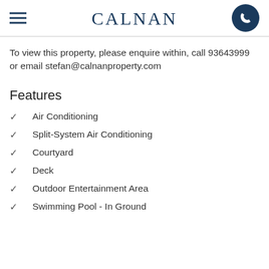CALNAN
To view this property, please enquire within, call 93643999 or email stefan@calnanproperty.com
Features
Air Conditioning
Split-System Air Conditioning
Courtyard
Deck
Outdoor Entertainment Area
Swimming Pool - In Ground